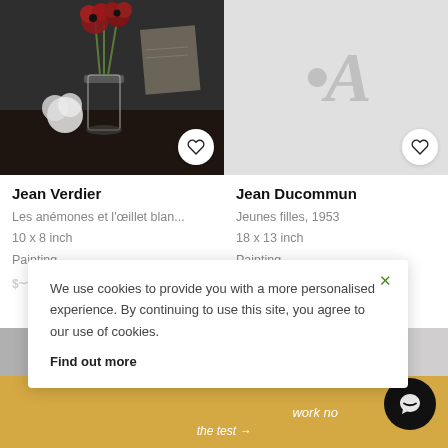[Figure (photo): Painting of red anemone flowers in a glass vase with a white carnation, dark background]
Jean Verdier
Les anémones et l'œillet blan...
10 x 8 inch
Painting
$~~~
[Figure (logo): Light grey background with partial logo/watermark letters visible, heart icon button]
Jean Ducommun
Jeunes filles, 1953
18 x 13 inch
Painting
$686
We use cookies to provide you with a more personalised experience. By continuing to use this site, you agree to our use of cookies.
Find out more